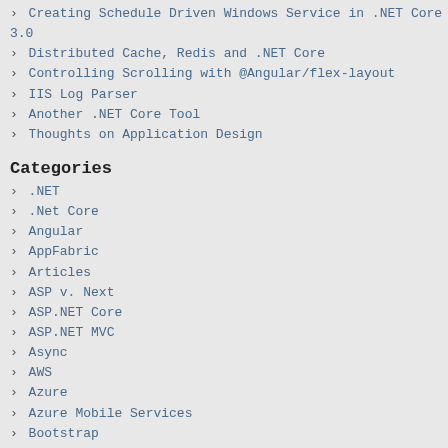Creating Schedule Driven Windows Service in .NET Core 3.0
Distributed Cache, Redis and .NET Core
Controlling Scrolling with @Angular/flex-layout
IIS Log Parser
Another .NET Core Tool
Thoughts on Application Design
Categories
.NET
.Net Core
Angular
AppFabric
Articles
ASP v. Next
ASP.NET Core
ASP.NET MVC
Async
AWS
Azure
Azure Mobile Services
Bootstrap
Cache
Career
Community
Conferences